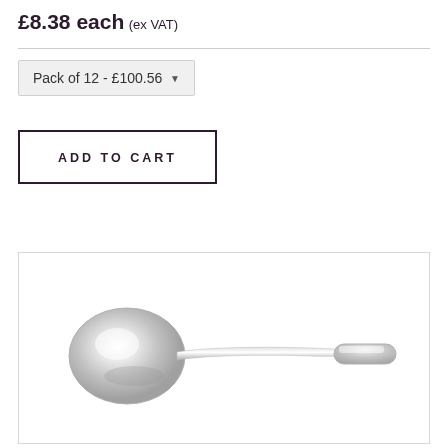£8.38 each (ex VAT)
Pack of 12 - £100.56
ADD TO CART
[Figure (photo): A silver/stainless steel spoon shown horizontally with the bowl on the left and handle extending to the right, against a white background inside a light-bordered rectangle.]